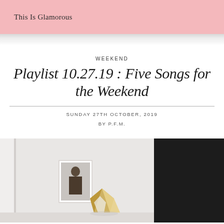This Is Glamorous
WEEKEND
Playlist 10.27.19 : Five Songs for the Weekend
SUNDAY 27TH OCTOBER, 2019
BY P.F.M.
[Figure (photo): Interior room photo showing a framed black and white portrait on a white wall, a geometric gold and white decorative object, and part of a dark velvet sofa or chair on the right side.]